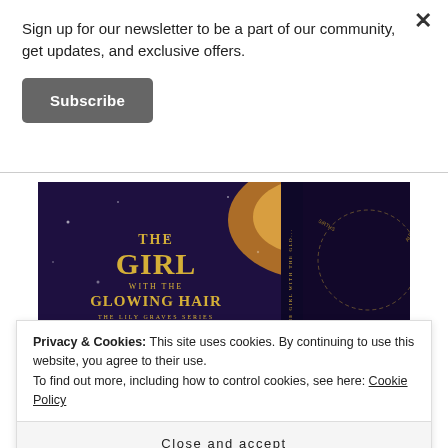Sign up for our newsletter to be a part of our community, get updates, and exclusive offers.
Subscribe
[Figure (photo): Book cover of 'The Girl with the Glowing Hair – The Lily Graves Series' showing a girl with long glowing hair in a fantasy purple and golden setting]
Privacy & Cookies: This site uses cookies. By continuing to use this website, you agree to their use.
To find out more, including how to control cookies, see here: Cookie Policy
Close and accept